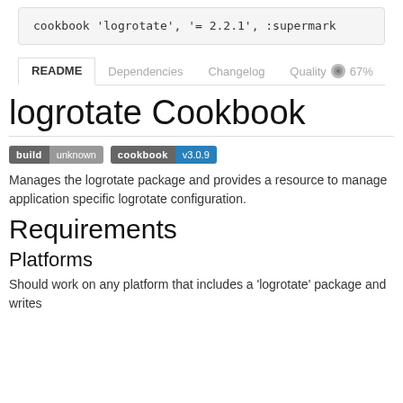[Figure (screenshot): Code block showing: cookbook 'logrotate', '= 2.2.1', :supermark]
README  Dependencies  Changelog  Quality  67%
logrotate Cookbook
[Figure (infographic): Two badges: 'build unknown' and 'cookbook v3.0.9']
Manages the logrotate package and provides a resource to manage application specific logrotate configuration.
Requirements
Platforms
Should work on any platform that includes a 'logrotate' package and writes